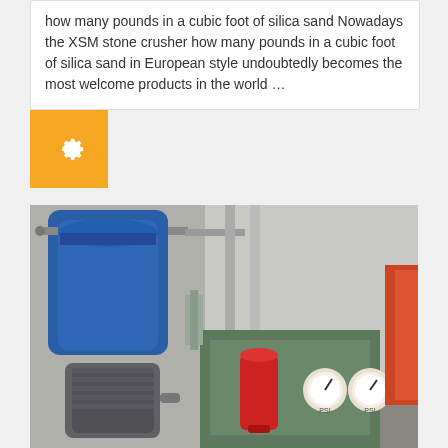how many pounds in a cubic foot of silica sand Nowadays the XSM stone crusher how many pounds in a cubic foot of silica sand in European style undoubtedly becomes the most welcome products in the world ...
[Figure (photo): Industrial machinery photo showing a blue cylindrical machine/tank on the left with pipes and a grey electric motor below it, and a green hydraulic/control unit on the right with a red filter canister and two pressure gauges, set in an industrial workshop environment.]